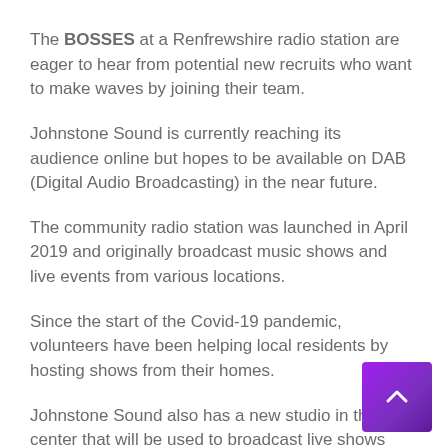The BOSSES at a Renfrewshire radio station are eager to hear from potential new recruits who want to make waves by joining their team.
Johnstone Sound is currently reaching its audience online but hopes to be available on DAB (Digital Audio Broadcasting) in the near future.
The community radio station was launched in April 2019 and originally broadcast music shows and live events from various locations.
Since the start of the Covid-19 pandemic, volunteers have been helping local residents by hosting shows from their homes.
Johnstone Sound also has a new studio in the d center that will be used to broadcast live shows well as record community interviews and music from